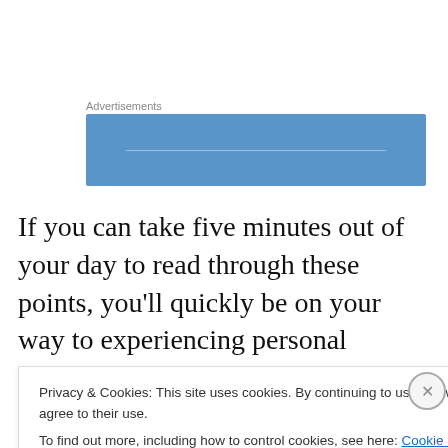Advertisements
[Figure (other): Blue advertisement banner placeholder]
If you can take five minutes out of your day to read through these points, you'll quickly be on your way to experiencing personal freedom like never before. Write them down, share them with friends, or put them on your refrigerator. Do whatever you can to embrace and live by
Privacy & Cookies: This site uses cookies. By continuing to use this website, you agree to their use.
To find out more, including how to control cookies, see here: Cookie Policy
Close and accept